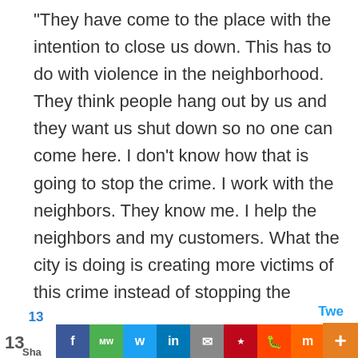“They have come to the place with the intention to close us down. This has to do with violence in the neighborhood. They think people hang out by us and they want us shut down so no one can come here. I don’t know how that is going to stop the crime. I work with the neighbors. They know me. I help the neighbors and my customers. What the city is doing is creating more victims of this crime instead of stopping the crime.”

Another store owner said the inspector was upfront about what he was doing, saying there was nothing I could do.
[Figure (screenshot): Social share bar at the bottom with share counts (13 shares), and social media icons: Facebook, MW, Twitter, LinkedIn, Email, Pinterest, Reddit, Mix, WhatsApp, plus a Tweet label and an orange plus button.]